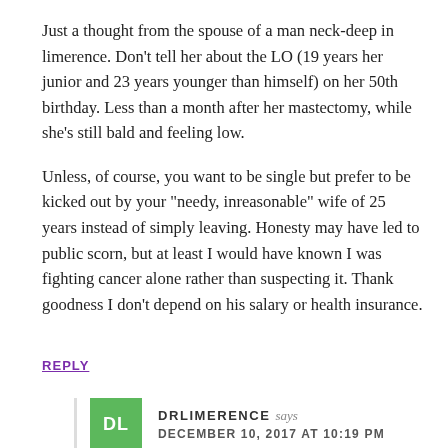Just a thought from the spouse of a man neck-deep in limerence. Don’t tell her about the LO (19 years her junior and 23 years younger than himself) on her 50th birthday. Less than a month after her mastectomy, while she’s still bald and feeling low.
Unless, of course, you want to be single but prefer to be kicked out by your “needy, inreasonable” wife of 25 years instead of simply leaving. Honesty may have led to public scorn, but at least I would have known I was fighting cancer alone rather than suspecting it. Thank goodness I don’t depend on his salary or health insurance.
REPLY
DRLIMERENCE says DECEMBER 10, 2017 AT 10:19 PM